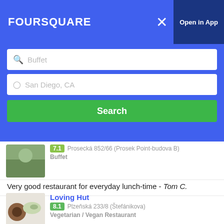FOURSQUARE
[Figure (screenshot): Foursquare search interface with search bar showing 'Buffet' and location 'San Diego, CA' with a green Search button]
7.1  Prosecká 852/66 (Prosek Point-budova B)
Buffet
Very good restaurant for everyday lunch-time - Tom C.
Loving Hut
8.1  Plzeňská 233/8 (Štefánikova)
Vegetarian / Vegan Restaurant
The buffet is gorgeous - František S.
CykloBAR - Ve Statku
6.9  Ke Štítu 33
Buffet
Příjemné prostředí s velkou zahrádkou. Obsluha na úrovni a